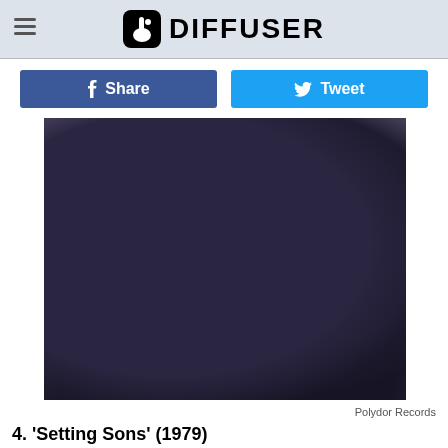DIFFUSER
[Figure (other): Share and Tweet social media buttons (Facebook Share in blue, Twitter Tweet in light blue)]
[Figure (photo): Dark bronze sculpture of multiple figures (soldiers/men), close-up showing faces and coats, dramatic cloudy sky background. Album artwork for The Jam's 'Setting Sons' (1979).]
Polydor Records
4. 'Setting Sons' (1979)